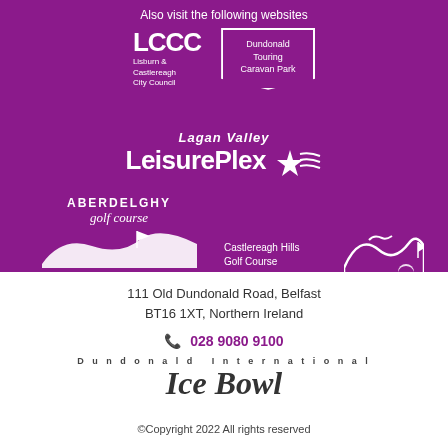Also visit the following websites
[Figure (logo): LCCC Lisburn & Castlereagh City Council logo in white on purple]
[Figure (logo): Dundonald Touring Caravan Park badge logo in white on purple]
[Figure (logo): Lagan Valley LeisurePlex logo with star and swoosh]
[Figure (logo): Aberdelghy Golf Course Lambeg logo]
[Figure (logo): Castlereagh Hills Golf Course logo]
111 Old Dundonald Road, Belfast
BT16 1XT, Northern Ireland
028 9080 9100
[Figure (logo): Dundonald International Ice Bowl logo]
©Copyright 2022 All rights reserved